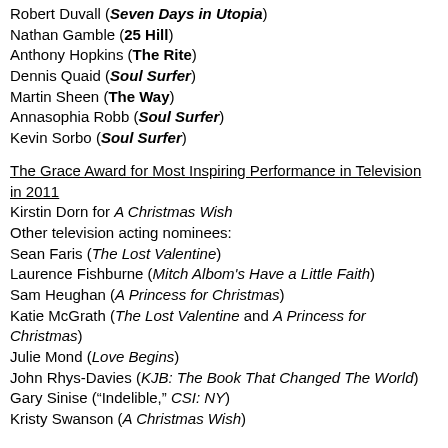Robert Duvall (Seven Days in Utopia)
Nathan Gamble (25 Hill)
Anthony Hopkins (The Rite)
Dennis Quaid (Soul Surfer)
Martin Sheen (The Way)
Annasophia Robb (Soul Surfer)
Kevin Sorbo (Soul Surfer)
The Grace Award for Most Inspiring Performance in Television in 2011
Kirstin Dorn for A Christmas Wish
Other television acting nominees:
Sean Faris (The Lost Valentine)
Laurence Fishburne (Mitch Albom's Have a Little Faith)
Sam Heughan (A Princess for Christmas)
Katie McGrath (The Lost Valentine and A Princess for Christmas)
Julie Mond (Love Begins)
John Rhys-Davies (KJB: The Book That Changed The World)
Gary Sinise (“Indelible,” CSI: NY)
Kristy Swanson (A Christmas Wish)